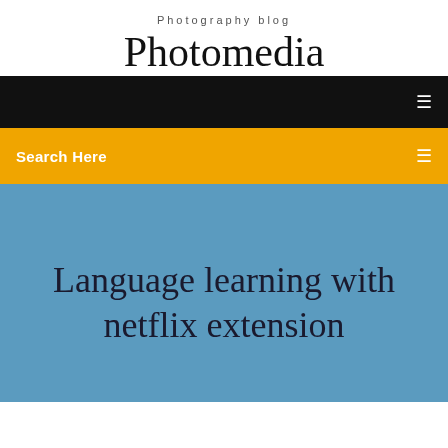Photography blog
Photomedia
Search Here
Language learning with netflix extension